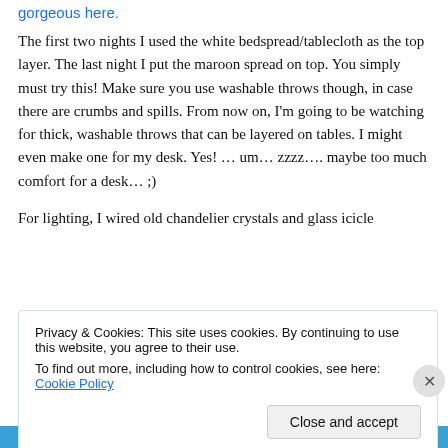gorgeous here.
The first two nights I used the white bedspread/tablecloth as the top layer. The last night I put the maroon spread on top. You simply must try this! Make sure you use washable throws though, in case there are crumbs and spills. From now on, I'm going to be watching for thick, washable throws that can be layered on tables. I might even make one for my desk. Yes! … um… zzzz…. maybe too much comfort for a desk… ;)
For lighting, I wired old chandelier crystals and glass icicle
Privacy & Cookies: This site uses cookies. By continuing to use this website, you agree to their use.
To find out more, including how to control cookies, see here: Cookie Policy
Close and accept